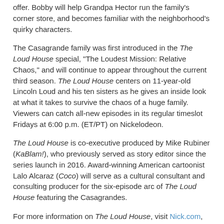offer. Bobby will help Grandpa Hector run the family's corner store, and becomes familiar with the neighborhood's quirky characters.
The Casagrande family was first introduced in the The Loud House special, "The Loudest Mission: Relative Chaos," and will continue to appear throughout the current third season. The Loud House centers on 11-year-old Lincoln Loud and his ten sisters as he gives an inside look at what it takes to survive the chaos of a huge family. Viewers can catch all-new episodes in its regular timeslot Fridays at 6:00 p.m. (ET/PT) on Nickelodeon.
The Loud House is co-executive produced by Mike Rubiner (KaBlam!), who previously served as story editor since the series launch in 2016. Award-winning American cartoonist Lalo Alcaraz (Coco) will serve as a cultural consultant and consulting producer for the six-episode arc of The Loud House featuring the Casagrandes.
For more information on The Loud House, visit Nick.com, the Nick App, Instagram and the Facebook page. Episodes of